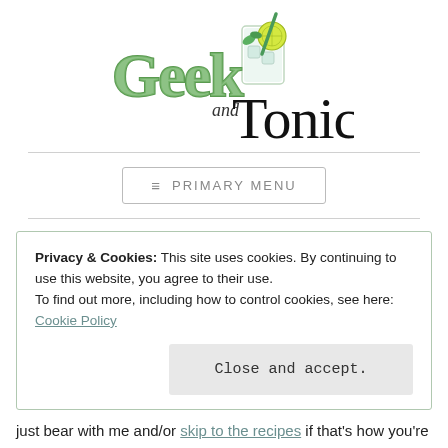[Figure (logo): Geek and Tonic logo — stylized green 'Geek' text with a cocktail glass illustration, and 'and Tonic' in black serif font]
≡ PRIMARY MENU
Privacy & Cookies: This site uses cookies. By continuing to use this website, you agree to their use.
To find out more, including how to control cookies, see here: Cookie Policy
Close and accept.
just bear with me and/or skip to the recipes if that's how you're